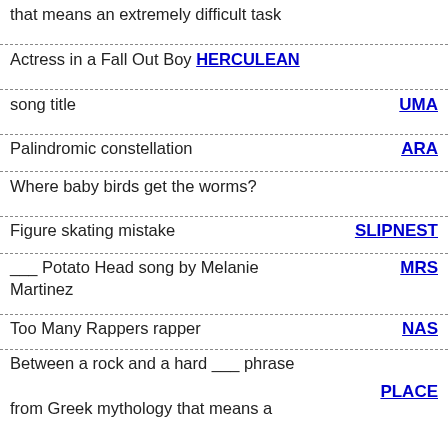that means an extremely difficult task
Actress in a Fall Out Boy song title — HERCULEAN
song title — UMA
Palindromic constellation — ARA
Where baby birds get the worms?
Figure skating mistake — SLIPNEST
___ Potato Head song by Melanie Martinez — MRS
Too Many Rappers rapper — NAS
Between a rock and a hard ___ phrase from Greek mythology that means a — PLACE